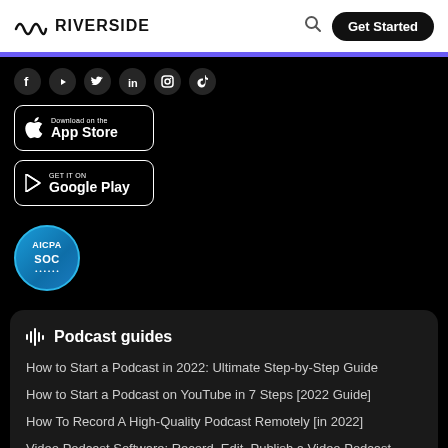RIVERSIDE — Get Started
[Figure (screenshot): Social media icons row: Facebook, YouTube, Twitter, LinkedIn, Instagram, TikTok]
[Figure (screenshot): Download on the App Store button]
[Figure (screenshot): GET IT ON Google Play button]
[Figure (logo): AICPA SOC certification badge]
Podcast guides
How to Start a Podcast in 2022: Ultimate Step-by-Step Guide
How to Start a Podcast on YouTube in 7 Steps [2022 Guide]
How To Record A High-Quality Podcast Remotely [in 2022]
Video Podcast Software: Record, Edit, Publish a Video Podcast